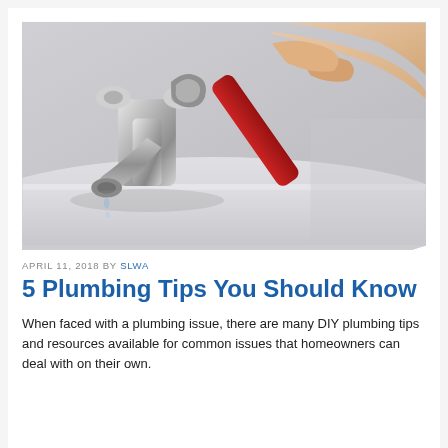[Figure (photo): Close-up photo of a hand using a red-handled wrench/tool on a dripping chrome bathroom faucet. Water droplets visible falling from the faucet spout. Background shows a light gray/white bathroom sink and wall.]
APRIL 11, 2018 BY SLWA
5 Plumbing Tips You Should Know
When faced with a plumbing issue, there are many DIY plumbing tips and resources available for common issues that homeowners can deal with on their own.